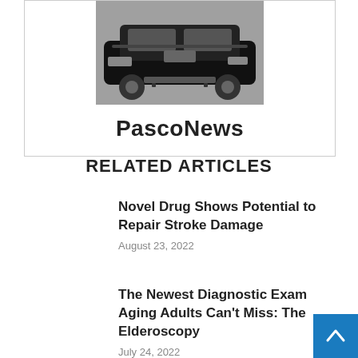[Figure (photo): Photo of a black vintage-style toy/pedal car on a workshop floor]
PascoNews
RELATED ARTICLES
Novel Drug Shows Potential to Repair Stroke Damage
August 23, 2022
The Newest Diagnostic Exam Aging Adults Can't Miss: The Elderoscopy
July 24, 2022